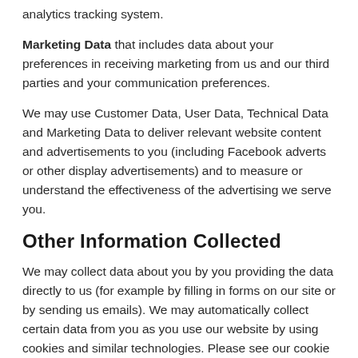analytics tracking system.
Marketing Data that includes data about your preferences in receiving marketing from us and our third parties and your communication preferences.
We may use Customer Data, User Data, Technical Data and Marketing Data to deliver relevant website content and advertisements to you (including Facebook adverts or other display advertisements) and to measure or understand the effectiveness of the advertising we serve you.
Other Information Collected
We may collect data about you by you providing the data directly to us (for example by filling in forms on our site or by sending us emails). We may automatically collect certain data from you as you use our website by using cookies and similar technologies. Please see our cookie policy for more details about this : Cookie Policy.